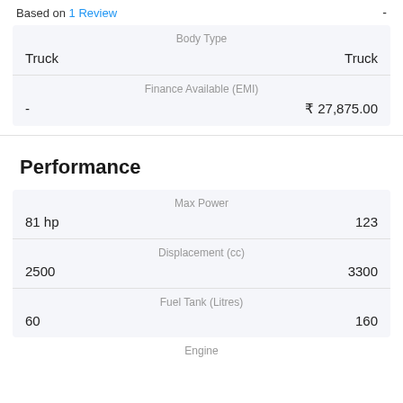Based on 1 Review
| Body Type |  |
| --- | --- |
| Truck | Truck |
| Finance Available (EMI) |  |
| --- | --- |
| - | ₹ 27,875.00 |
Performance
| Max Power |  |
| --- | --- |
| 81 hp | 123 |
| Displacement (cc) |  |
| --- | --- |
| 2500 | 3300 |
| Fuel Tank (Litres) |  |
| --- | --- |
| 60 | 160 |
Engine